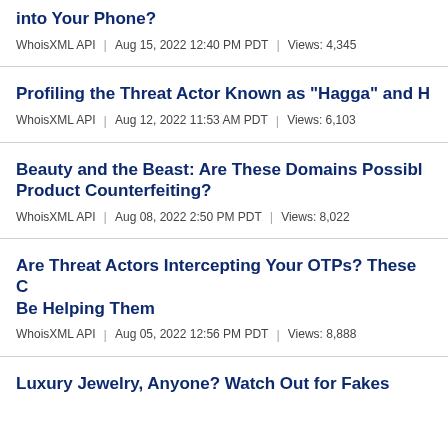into Your Phone?
WhoisXML API | Aug 15, 2022 12:40 PM PDT | Views: 4,345
Profiling the Threat Actor Known as "Hagga" and H
WhoisXML API | Aug 12, 2022 11:53 AM PDT | Views: 6,103
Beauty and the Beast: Are These Domains Possibl… Product Counterfeiting?
WhoisXML API | Aug 08, 2022 2:50 PM PDT | Views: 8,022
Are Threat Actors Intercepting Your OTPs? These … Be Helping Them
WhoisXML API | Aug 05, 2022 12:56 PM PDT | Views: 8,888
Luxury Jewelry, Anyone? Watch Out for Fakes